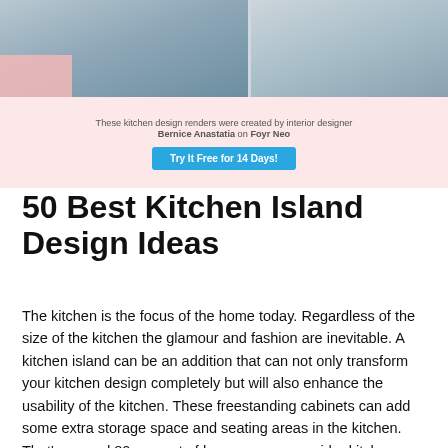[Figure (photo): Banner showing kitchen design renders with two kitchen images side by side, a pink decorative block on the left, a caption about Bernice Anastatia on Foyr Neo, and a blue 'Try It Free for 14 Days!' button on a light pink background.]
50 Best Kitchen Island Design Ideas
The kitchen is the focus of the home today. Regardless of the size of the kitchen the glamour and fashion are inevitable. A kitchen island can be an addition that can not only transform your kitchen design completely but will also enhance the usability of the kitchen. These freestanding cabinets can add some extra storage space and seating areas in the kitchen. That's around 80 percent of homeowners consider kitchen islands as one of the essential parts of modern kitchen designs today. There are a lot of kitchen island designs and it can be hard to choose the right one for your home, and